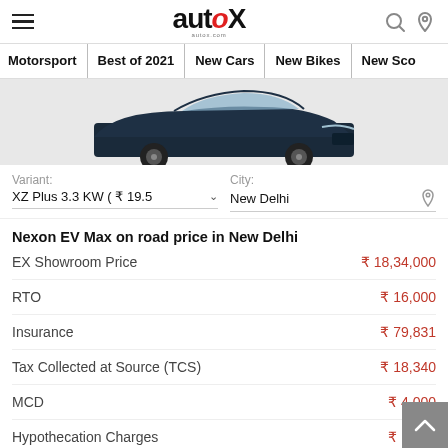autoX - autox.com
Motorsport | Best of 2021 | New Cars | New Bikes | New Sco...
[Figure (photo): Front view of Tata Nexon EV Max car on light grey background]
Variant: XZ Plus 3.3 KW ( ₹ 19.5   City: New Delhi
Nexon EV Max on road price in New Delhi
| Item | Price |
| --- | --- |
| EX Showroom Price | ₹ 18,34,000 |
| RTO | ₹ 16,000 |
| Insurance | ₹ 79,831 |
| Tax Collected at Source (TCS) | ₹ 18,340 |
| MCD | ₹ 4,000 |
| Hypothecation Charges | ₹ 1,500 |